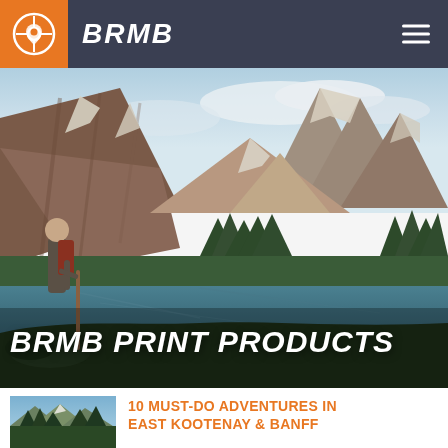BRMB
[Figure (photo): Hiker with walking stick standing beside a vivid green mountain lake surrounded by pine forest, with dramatic rocky mountains and snow patches in the background. Text overlay reads BRMB PRINT PRODUCTS.]
BRMB PRINT PRODUCTS
[Figure (photo): Small thumbnail of pine forest with mountains and blue sky.]
10 MUST-DO ADVENTURES IN EAST KOOTENAY & BANFF